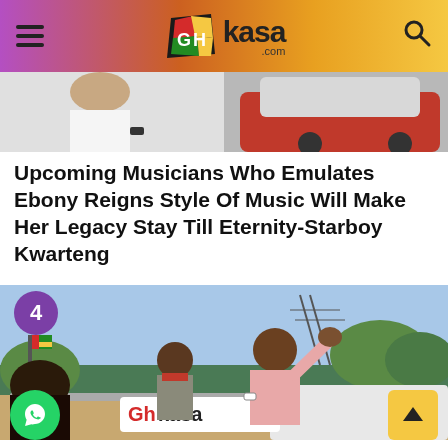GhKasa.com
[Figure (photo): Partial photo showing two people, one in white shirt on left and partial red car on right]
Upcoming Musicians Who Emulates Ebony Reigns Style Of Music Will Make Her Legacy Stay Till Eternity-Starboy Kwarteng
[Figure (photo): Outdoor photo of two men on a vehicle, one in pink shirt waving, crowd visible, GhKasa logo on vehicle, badge number 4]
Official Campaign Season For John Dramani...